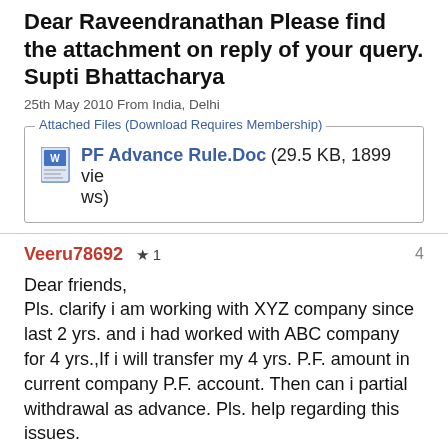Dear Raveendranathan Please find the attachment on reply of your query. Supti Bhattacharya
25th May 2010 From India, Delhi
Attached Files (Download Requires Membership)
PF Advance Rule.Doc (29.5 KB, 1899 views)
Veeru78692 ★ 1   4
Dear friends,
Pls. clarify i am working with XYZ company since last 2 yrs. and i had worked with ABC company for 4 yrs.,If i will transfer my 4 yrs. P.F. amount in current company P.F. account. Then can i partial withdrawal as advance. Pls. help regarding this issues.